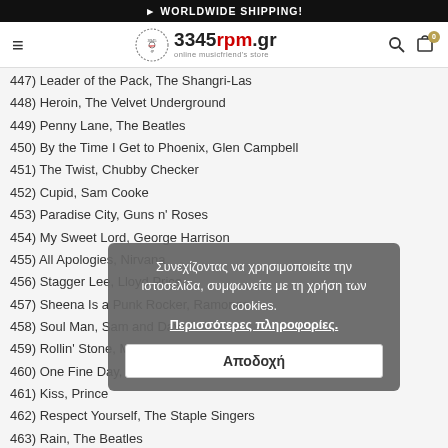► WORLDWIDE SHIPPING!
[Figure (logo): 3345rpm.gr online musicfriend's store logo with hamburger menu, search icon, and cart icon showing 0 items]
447) Leader of the Pack, The Shangri-Las
448) Heroin, The Velvet Underground
449) Penny Lane, The Beatles
450) By the Time I Get to Phoenix, Glen Campbell
451) The Twist, Chubby Checker
452) Cupid, Sam Cooke
453) Paradise City, Guns n' Roses
454) My Sweet Lord, George Harrison
455) All Apologies, Nirvana
456) Stagger Lee, Lloyd Price
457) Sheena Is a Punk Rocker, Ramones
458) Soul Man, Sam and Dave
459) Rollin' Stone, Muddy Waters
460) One Fine Day, The Chiffons
461) Kiss, Prince
462) Respect Yourself, The Staple Singers
463) Rain, The Beatles
464) Standing in the Shadows of Love, The Four Tops
465) Surrender, Cheap Trick
466) Runaway, Del Shannon
Συνεχίζοντας να χρησιμοποιείτε την ιστοσελίδα, συμφωνείτε με τη χρήση των cookies. Περισσότερες πληροφορίες. Αποδοχή